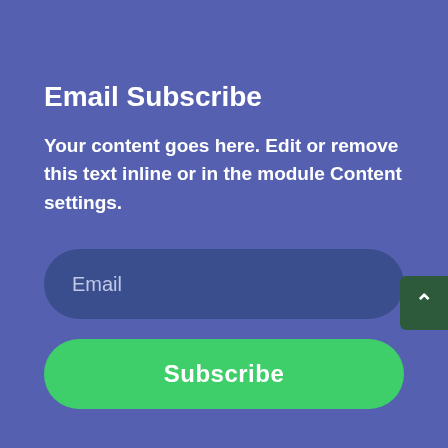Email Subscribe
Your content goes here. Edit or remove this text inline or in the module Content settings.
Email
Subscribe